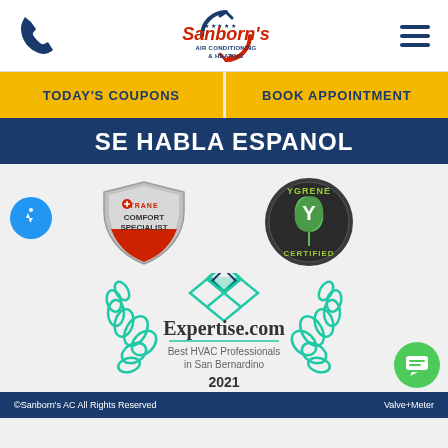[Figure (logo): Sanborn's Air Conditioning & Heating logo with phone icon and hamburger menu]
TODAY'S COUPONS
BOOK APPOINTMENT
SE HABLA ESPANOL
[Figure (logo): Trane Comfort Specialist badge]
[Figure (logo): Ygrene Certified badge]
[Figure (logo): Expertise.com Best HVAC Professionals in San Bernardino 2021 award badge]
©Sanborn's AC All Rights Reserved   Valve+Meter